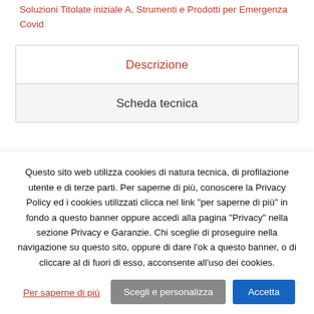Soluzioni Titolate iniziale A, Strumenti e Prodotti per Emergenza Covid
Descrizione
Scheda tecnica
Questo sito web utilizza cookies di natura tecnica, di profilazione utente e di terze parti. Per saperne di più, conoscere la Privacy Policy ed i cookies utilizzati clicca nel link "per saperne di più" in fondo a questo banner oppure accedi alla pagina "Privacy" nella sezione Privacy e Garanzie. Chi sceglie di proseguire nella navigazione su questo sito, oppure di dare l'ok a questo banner, o di cliccare al di fuori di esso, acconsente all'uso dei cookies.
Per saperne di più
Scegli e personalizza
Accetta